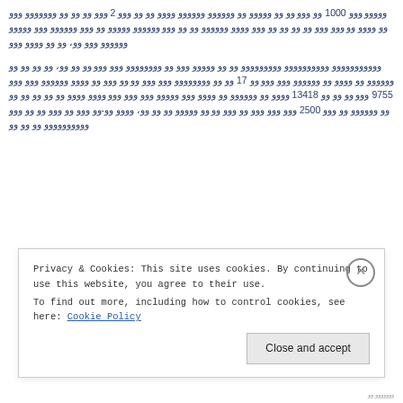ووووو ووو 1000 وو ووو وو وو ووووو وو وووووو وووووو وووو وو وو ووو 2 ووو وو وو وو ووووووو ووو وو وووو وو ووو ووو وو وو وو ووو ووو وووو وووووو وو وو ووو وووووو ووووو وو ووو وووووو ووو ووووو وووووو ووو وو، وو وو وووو ووو
ووووووووووو وووووووووو ووووووووو وو وو ووووو ووو وو وووووووو ووو ووو وو وو وو، وو وو وو وو وووووو وو وووو وو وووووو ووو ووو وو 17 وو وو وووووووو ووو ووو وو وو ووو وو وووو وووووو ووو ووو 9755 ووو وو وو وو 13418 وووو وو وووووو وو وووو ووو ووووو ووو ووو ووو وووو وووو وو وو وو وو ووو وو وووووو وو ووو 2500 ووو ووو ووو وو وو وو وو ووووو وو وو وو، وووو وو-وو ووو وو ووو وو وو ووو وووووووووو وو وو وو
Privacy & Cookies: This site uses cookies. By continuing to use this website, you agree to their use.
To find out more, including how to control cookies, see here: Cookie Policy
Close and accept
ووووووو وو